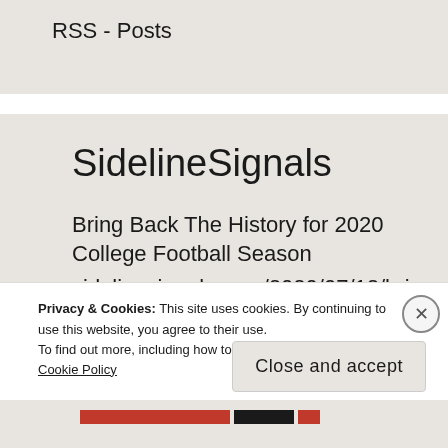RSS - Posts
SidelineSignals
Bring Back The History for 2020 College Football Season
sidelinesignals.com/2020/07/12/bri…
2 years ago
Privacy & Cookies: This site uses cookies. By continuing to use this website, you agree to their use.
To find out more, including how to control cookies, see here: Cookie Policy
Close and accept